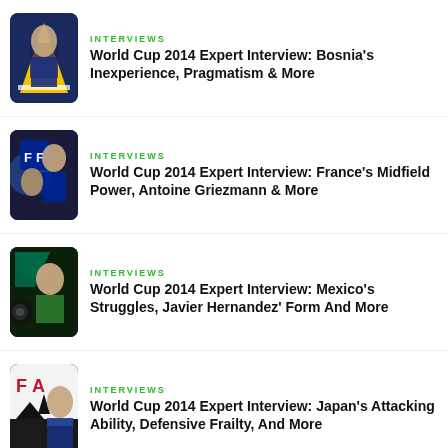INTERVIEWS
World Cup 2014 Expert Interview: Bosnia's Inexperience, Pragmatism & More
INTERVIEWS
World Cup 2014 Expert Interview: France's Midfield Power, Antoine Griezmann & More
INTERVIEWS
World Cup 2014 Expert Interview: Mexico's Struggles, Javier Hernandez' Form And More
INTERVIEWS
World Cup 2014 Expert Interview: Japan's Attacking Ability, Defensive Frailty, And More